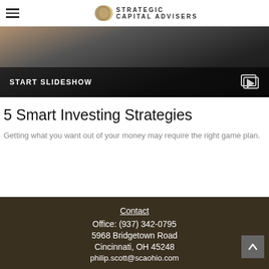Strategic Capital Advisers
[Figure (screenshot): Dark slideshow banner with 'START SLIDESHOW' label and a play/slideshow icon on the right, overlaying a dark desk/laptop background image.]
5 Smart Investing Strategies
Getting what you want out of your money may require the right game plan.
Contact
Office: (937) 342-0795
5968 Bridgetown Road
Cincinnati, OH 45248
philip.scott@scaohio.com